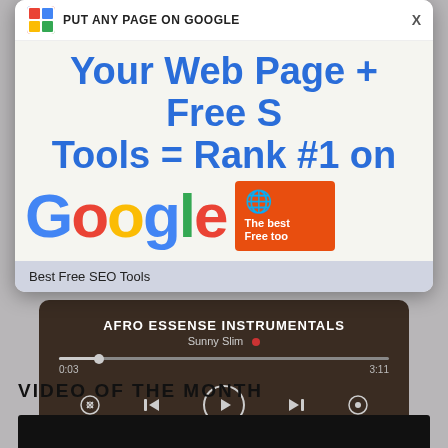[Figure (screenshot): Ad popup overlay: 'PUT ANY PAGE ON GOOGLE' with text 'Your Web Page + Free S Tools = Rank #1 on Google' and Google logo]
Best Free SEO Tools
[Figure (screenshot): Music player showing 'AFRO ESSENSE INSTRUMENTALS' by Sunny Slim, time 0:03 / 3:11 with playback controls]
VIDEO OF THE MONTH
[Figure (screenshot): Black video thumbnail at bottom of page]